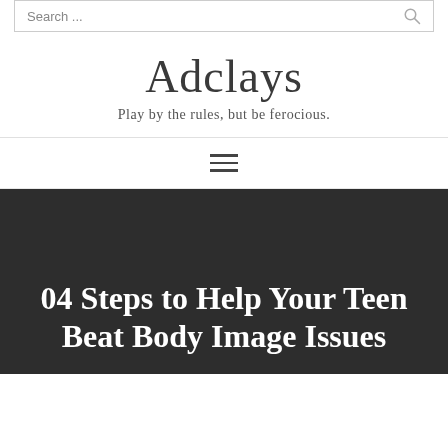Search ...
Adclays
Play by the rules, but be ferocious.
[Figure (other): Hamburger menu icon with three horizontal lines]
04 Steps to Help Your Teen Beat Body Image Issues